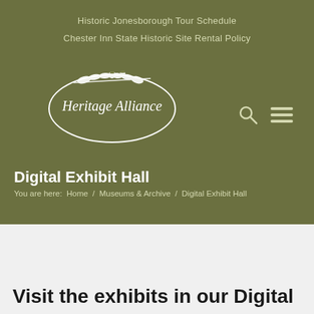Historic Jonesborough Tour Schedule
Chester Inn State Historic Site Rental Policy
Digital Exhibit Hall
You are here:  Home  /  Museums & Archive  /  Digital Exhibit Hall
[Figure (screenshot): Screenshot of a digital exhibit page titled 'Influenza Pandemic, September 1918-February 1919' showing exhibit overview text, local death records and events, and notes on research and sources sections with an illustration of a teacher with children.]
Visit the exhibits in our Digital